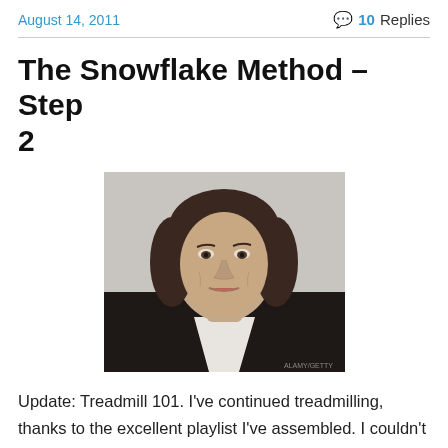August 14, 2011 | 10 Replies
The Snowflake Method – Step 2
[Figure (photo): Photograph of a man with long dark hair wearing a dark jacket and white shirt, facing the camera with a neutral expression.]
Update: Treadmill 101. I've continued treadmilling, thanks to the excellent playlist I've assembled. I couldn't have done it without that playlist. And another reason I've succeeded at my (approximately) fiftieth attempt at an